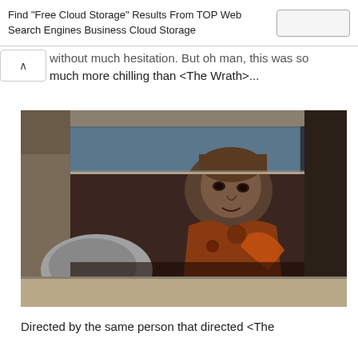Find "Free Cloud Storage" Results From TOP Web Search Engines Business Cloud Storage
without much hesitation. But oh man, this was so much more chilling than <The Wrath>...
[Figure (photo): A young person sitting in the driver's seat of a car, viewed through the car window. The person appears dirty or bloodied, wearing a jacket. The scene is dark and cinematic with blue and orange tones.]
Directed by the same person that directed <The